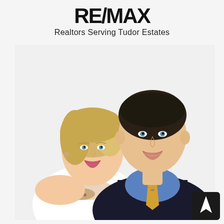[Figure (logo): RE/MAX logo in bold black text with stylized lettering]
Realtors Serving Tudor Estates
[Figure (photo): Professional headshot photo of two realtors: a woman with blonde hair wearing a white blouse, and a man in a dark suit with blue shirt and gold tie, both smiling]
[Figure (other): Navigation/compass arrow icon in a dark rounded square in the bottom right corner]